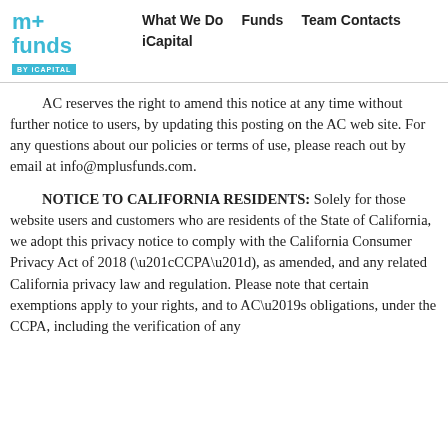m+ funds BY iCAPITAL | What We Do  Funds  Team Contacts  iCapital
AC reserves the right to amend this notice at any time without further notice to users, by updating this posting on the AC web site. For any questions about our policies or terms of use, please reach out by email at info@mplusfunds.com.
NOTICE TO CALIFORNIA RESIDENTS: Solely for those website users and customers who are residents of the State of California, we adopt this privacy notice to comply with the California Consumer Privacy Act of 2018 (“CCPA”), as amended, and any related California privacy law and regulation. Please note that certain exemptions apply to your rights, and to AC’s obligations, under the CCPA, including the verification of any